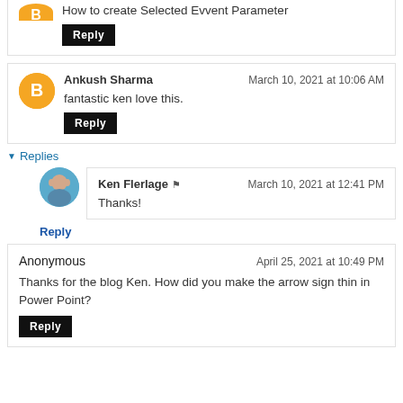How to create Selected Evvent Parameter
Reply
Ankush Sharma — March 10, 2021 at 10:06 AM
fantastic ken love this.
Reply
Replies
Ken Flerlage — March 10, 2021 at 12:41 PM
Thanks!
Reply
Anonymous — April 25, 2021 at 10:49 PM
Thanks for the blog Ken. How did you make the arrow sign thin in Power Point?
Reply